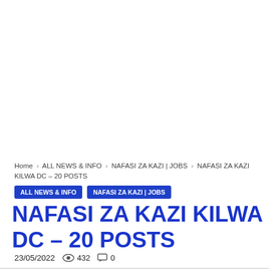Home › ALL NEWS & INFO › NAFASI ZA KAZI | JOBS › NAFASI ZA KAZI KILWA DC – 20 POSTS
ALL NEWS & INFO   NAFASI ZA KAZI | JOBS
NAFASI ZA KAZI KILWA DC – 20 POSTS
23/05/2022   432   0